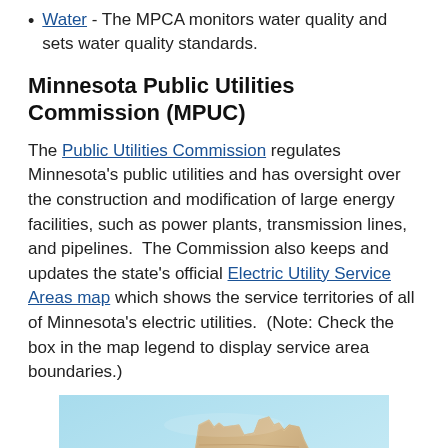Water - The MPCA monitors water quality and sets water quality standards.
Minnesota Public Utilities Commission (MPUC)
The Public Utilities Commission regulates Minnesota's public utilities and has oversight over the construction and modification of large energy facilities, such as power plants, transmission lines, and pipelines. The Commission also keeps and updates the state's official Electric Utility Service Areas map which shows the service territories of all of Minnesota's electric utilities. (Note: Check the box in the map legend to display service area boundaries.)
[Figure (photo): A 3D wooden sculpture of the state of Minnesota with a pink cursive 'Minnesota' script overlaid, set against a light blue background.]